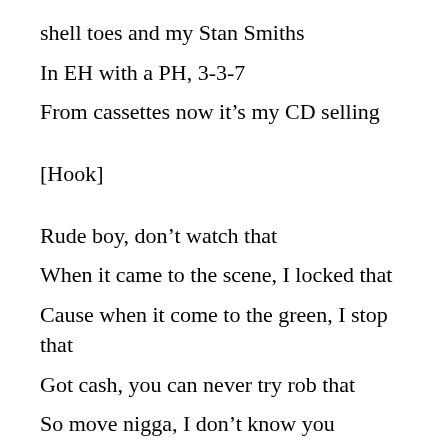shell toes and my Stan Smiths
In EH with a PH, 3-3-7
From cassettes now it’s my CD selling
[Hook]
Rude boy, don’t watch that
When it came to the scene, I locked that
Cause when it come to the green, I stop that
Got cash, you can never try rob that
So move nigga, I don’t know you
That means you ain’t old skool